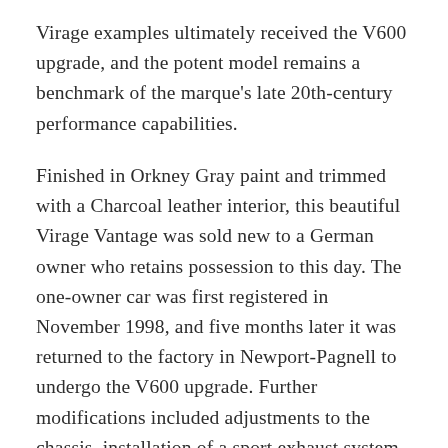Virage examples ultimately received the V600 upgrade, and the potent model remains a benchmark of the marque's late 20th-century performance capabilities.
Finished in Orkney Gray paint and trimmed with a Charcoal leather interior, this beautiful Virage Vantage was sold new to a German owner who retains possession to this day. The one-owner car was first registered in November 1998, and five months later it was returned to the factory in Newport-Pagnell to undergo the V600 upgrade. Further modifications included adjustments to the chassis, installation of a sport exhaust system, and the addition of a